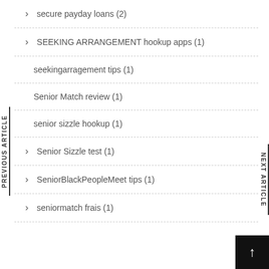secure payday loans (2)
SEEKING ARRANGEMENT hookup apps (1)
seekingarragement tips (1)
Senior Match review (1)
senior sizzle hookup (1)
Senior Sizzle test (1)
SeniorBlackPeopleMeet tips (1)
seniormatch frais (1)